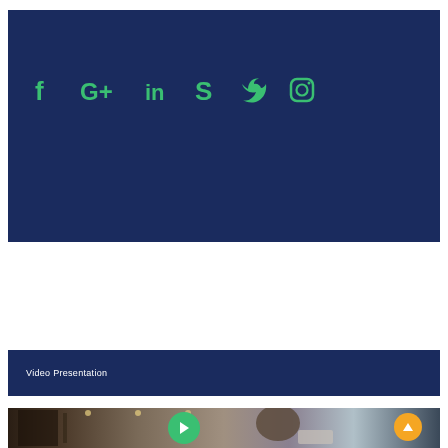Social Info
[Figure (infographic): Social media icons: Facebook, Google+, LinkedIn, Skype, Twitter, Instagram — displayed in green on dark navy background]
Video Presentation
[Figure (photo): A student (young woman with dark hair) studying in a library, writing notes with a laptop open, with a green play button overlay indicating a video]